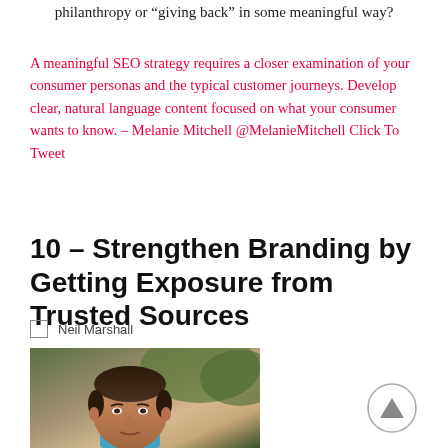philanthropy or “giving back” in some meaningful way?
A meaningful SEO strategy requires a closer examination of your consumer personas and the typical customer journeys. Develop clear, natural language content focused on what your consumer wants to know. – Melanie Mitchell @MelanieMitchell Click To Tweet
10 – Strengthen Branding by Getting Exposure from Trusted Sources
Neil Marshall
[Figure (photo): Headshot photo of Neil Marshall, a middle-aged man with dark hair, photographed outdoors.]
[Figure (other): A circular back-to-top button with an upward-pointing triangle arrow inside.]